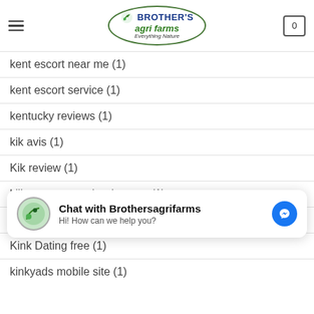Brother's Agri Farms - Everything Nature
kent escort near me (1)
kent escort service (1)
kentucky reviews (1)
kik avis (1)
Kik review (1)
killeen escort radar detector (1)
Kink Dating apps for iphone (1)
Kink Dating free (1)
[Figure (screenshot): Chat widget: Chat with Brothersagrifarms - Hi! How can we help you? with Messenger icon]
kinkyads mobile site (1)